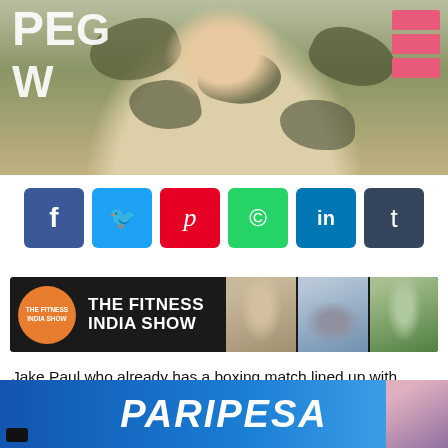[Figure (photo): Man in floral black and white shirt at event with pink signage visible on sides]
[Figure (infographic): Row of social media share buttons: Facebook (blue), Twitter (cyan), Pinterest (red), WhatsApp (green), LinkedIn (blue), Tumblr (dark blue-grey)]
[Figure (logo): The Fitness India Show banner with orange circular logo, white text on black background, and fitness photos on right]
Jake Paul who already has a boxing match lined up with former ONE and Bellator champion Ben Askren, is still seen doing his trolling acts to attract attention from
[Figure (screenshot): Paripesa advertisement banner in blue gradient with white italic bold text and woman on right side]